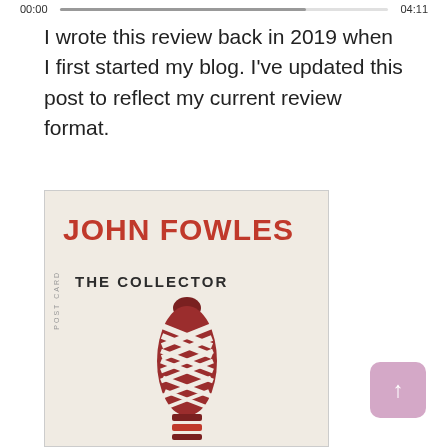00:00  [progress bar]  04:11
I wrote this review back in 2019 when I first started my blog. I've updated this post to reflect my current review format.
[Figure (photo): Photo of a book cover for 'The Collector' by John Fowles. The cover has a cream/white background with bold red text for the author name 'JOHN FOWLES' and dark text for the title 'THE COLLECTOR'. There is an illustration of a figure wrapped tightly in red and white crossed bands/straps. Partial text reading 'POST CARD' is visible vertically on the left side of the cover.]